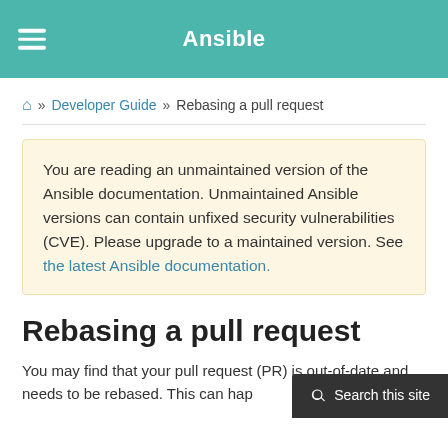Ansible
🏠 » Developer Guide » Rebasing a pull request
You are reading an unmaintained version of the Ansible documentation. Unmaintained Ansible versions can contain unfixed security vulnerabilities (CVE). Please upgrade to a maintained version. See the latest Ansible documentation.
Rebasing a pull request
You may find that your pull request (PR) is out-of-date and needs to be rebased. This can hap…